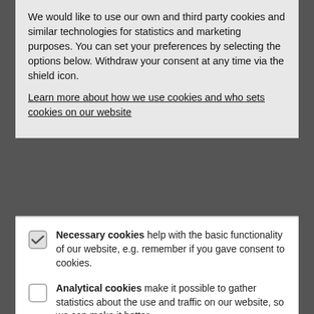We would like to use our own and third party cookies and similar technologies for statistics and marketing purposes. You can set your preferences by selecting the options below. Withdraw your consent at any time via the shield icon.
Learn more about how we use cookies and who sets cookies on our website
Necessary cookies help with the basic functionality of our website, e.g. remember if you gave consent to cookies.
Analytical cookies make it possible to gather statistics about the use and traffic on our website, so we can make it better.
Marketing cookies make it possible to show you more relevant social media content and advertisements on our website and other platforms.
Accept necessary | Accept all